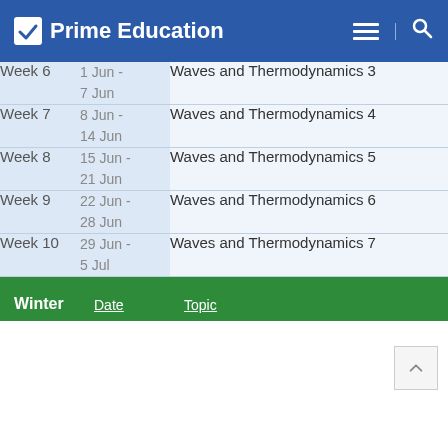Prime Education
| Week | Date | Topic |
| --- | --- | --- |
| Week 6 | 1 Jun -
7 Jun | Waves and Thermodynamics 3 |
| Week 7 | 8 Jun -
14 Jun | Waves and Thermodynamics 4 |
| Week 8 | 15 Jun -
21 Jun | Waves and Thermodynamics 5 |
| Week 9 | 22 Jun -
28 Jun | Waves and Thermodynamics 6 |
| Week 10 | 29 Jun -
5 Jul | Waves and Thermodynamics 7 |
Winter